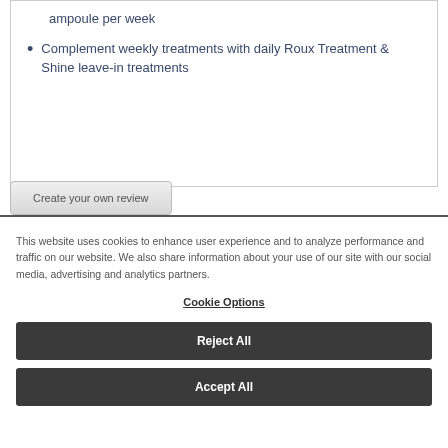ampoule per week
Complement weekly treatments with daily Roux Treatment & Shine leave-in treatments
Create your own review
This website uses cookies to enhance user experience and to analyze performance and traffic on our website. We also share information about your use of our site with our social media, advertising and analytics partners.
Cookie Options
Reject All
Accept All